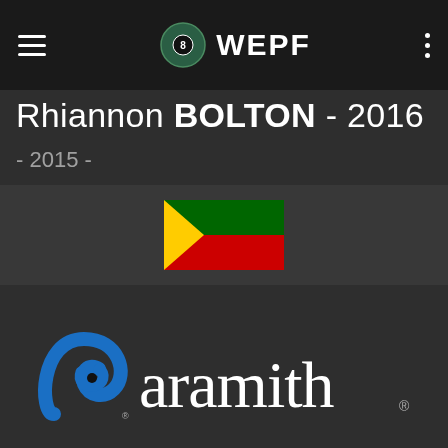WEPF
Rhiannon BOLTON - 2016
- 2015 -
[Figure (photo): Partial flag image visible in background, dark themed app screenshot]
[Figure (logo): Aramith billiards brand logo with blue swirl icon and white serif 'aramith' text with registered trademark symbols]